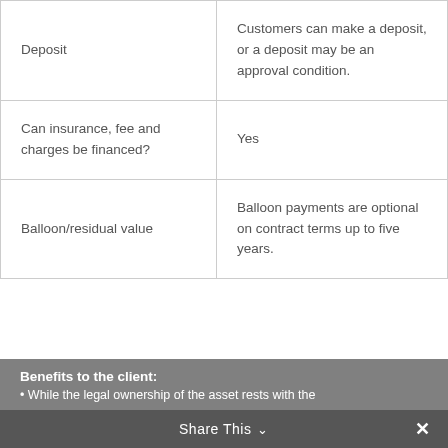| Deposit | Customers can make a deposit, or a deposit may be an approval condition. |
| Can insurance, fee and charges be financed? | Yes |
| Balloon/residual value | Balloon payments are optional on contract terms up to five years. |
Benefits to the client:
• While the legal ownership of the asset rests with the